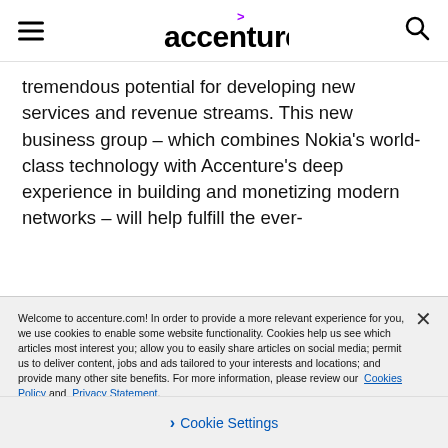accenture
tremendous potential for developing new services and revenue streams. This new business group – which combines Nokia's world-class technology with Accenture's deep experience in building and monetizing modern networks – will help fulfill the ever-
Welcome to accenture.com! In order to provide a more relevant experience for you, we use cookies to enable some website functionality. Cookies help us see which articles most interest you; allow you to easily share articles on social media; permit us to deliver content, jobs and ads tailored to your interests and locations; and provide many other site benefits. For more information, please review our Cookies Policy and Privacy Statement.
Cookie Settings